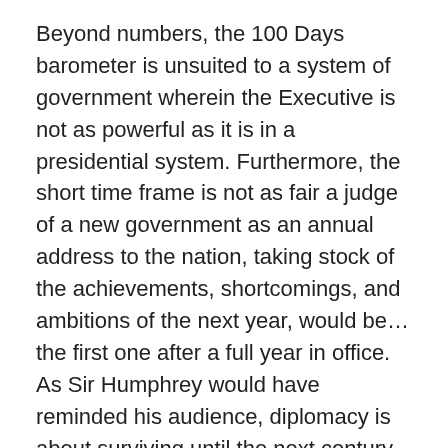Beyond numbers, the 100 Days barometer is unsuited to a system of government wherein the Executive is not as powerful as it is in a presidential system. Furthermore, the short time frame is not as fair a judge of a new government as an annual address to the nation, taking stock of the achievements, shortcomings, and ambitions of the next year, would be…the first one after a full year in office. As Sir Humphrey would have reminded his audience, diplomacy is about surviving until the next century whereas politics is about surviving until Friday afternoon.
In the realm of foreign policy, Modi's 100 days have been been interesting; right off the bat, he invited the leaders of the South Asian Association for Regional Cooperation (SAARC) to his inaugural address and spent time each of